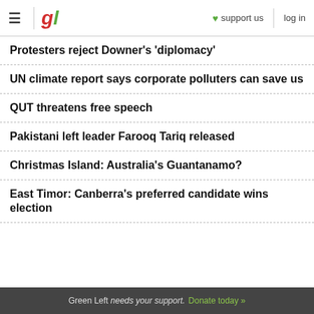gl | support us | log in
Protesters reject Downer's 'diplomacy'
UN climate report says corporate polluters can save us
QUT threatens free speech
Pakistani left leader Farooq Tariq released
Christmas Island: Australia's Guantanamo?
East Timor: Canberra's preferred candidate wins election
Green Left needs your support. Donate today »